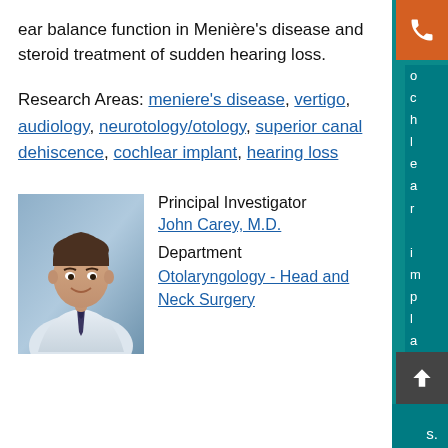ear balance function in Menière's disease and steroid treatment of sudden hearing loss.
Research Areas: meniere's disease, vertigo, audiology, neurotology/otology, superior canal dehiscence, cochlear implant, hearing loss
[Figure (photo): Headshot photo of Dr. John Carey in a white coat with a tie, smiling, against a blue background.]
Principal Investigator
John Carey, M.D.
Department
Otolaryngology - Head and Neck Surgery